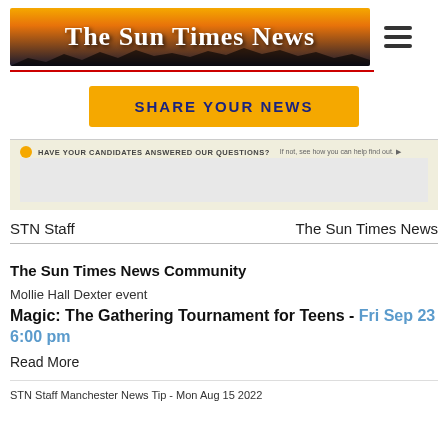[Figure (logo): The Sun Times News newspaper banner logo with sunset and silhouette background]
SHARE YOUR NEWS
[Figure (infographic): Ad banner: HAVE YOUR CANDIDATES ANSWERED OUR QUESTIONS? If not, see how you can help find out.]
STN Staff    The Sun Times News
The Sun Times News Community
Mollie Hall Dexter event
Magic: The Gathering Tournament for Teens - Fri Sep 23 6:00 pm
Read More
STN Staff Manchester News Tip - Mon Aug 15 2022